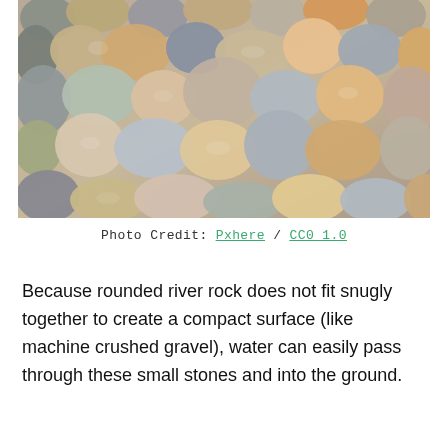[Figure (photo): Close-up photograph of rounded river rocks and pebbles of various sizes, shapes, and colors including grey, brown, tan, orange, pink, and beige stones piled together.]
Photo Credit: Pxhere / CC0 1.0
Because rounded river rock does not fit snugly together to create a compact surface (like machine crushed gravel), water can easily pass through these small stones and into the ground.